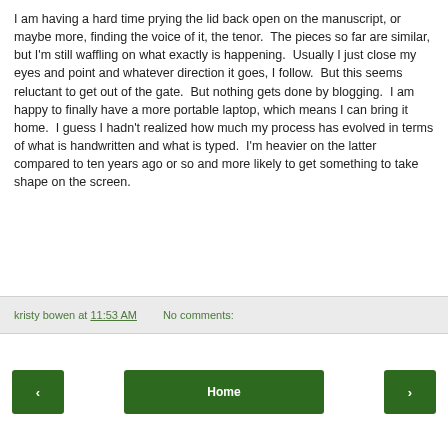I am having a hard time prying the lid back open on the manuscript, or maybe more, finding the voice of it, the tenor.  The pieces so far are similar, but I'm still waffling on what exactly is happening.  Usually I just close my eyes and point and whatever direction it goes, I follow.  But this seems reluctant to get out of the gate.  But nothing gets done by blogging.  I am happy to finally have a more portable laptop, which means I can bring it home.  I guess I hadn't realized how much my process has evolved in terms of what is handwritten and what is typed.  I'm heavier on the latter compared to ten years ago or so and more likely to get something to take shape on the screen.
kristy bowen at 11:53 AM   No comments:
Home